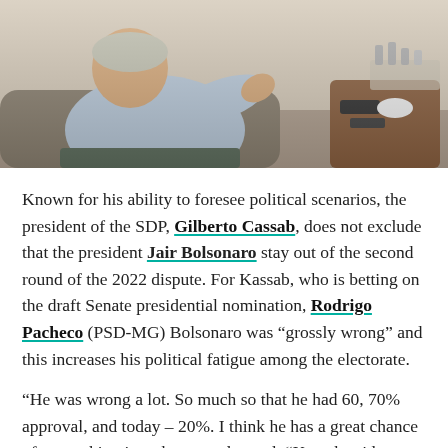[Figure (photo): Man in light blue shirt seated in a chair, gesturing with his right hand, with a side table and items visible in the background.]
Known for his ability to foresee political scenarios, the president of the SDP, Gilberto Cassab, does not exclude that the president Jair Bolsonaro stay out of the second round of the 2022 dispute. For Kassab, who is betting on the draft Senate presidential nomination, Rodrigo Pacheco (PSD-MG) Bolsonaro was “grossly wrong” and this increases his political fatigue among the electorate.
“He was wrong a lot. So much so that he had 60, 70% approval, and today – 20%. I think he has a great chance of not making it to the second round, “Kassab said. “Take a look at its wear and tear with the pandemic, with the number of unemployed. I see no chance of growth. I think